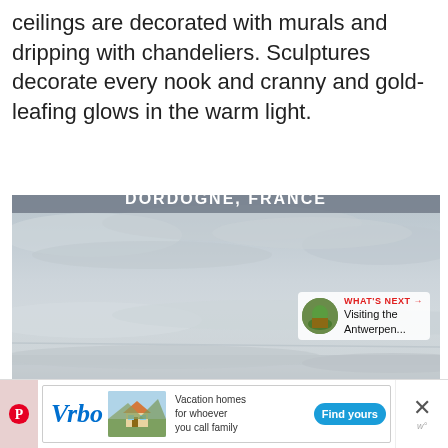ceilings are decorated with murals and dripping with chandeliers. Sculptures decorate every nook and cranny and gold-leafing glows in the warm light.
[Figure (photo): Aerial or elevated landscape photo showing a misty/cloudy sky and horizon over Dordogne, France. Overlaid UI elements include a heart/like button, a share button showing count of 1, a 'What's Next' panel linking to 'Visiting the Antwerpen...', and a location label 'DORDOGNE, FRANCE'.]
[Figure (infographic): Advertisement banner for Vrbo showing logo, house image, text 'Vacation homes for whoever you call family', and a 'Find yours' button. Includes a Pinterest icon on the left and a close button on the right.]